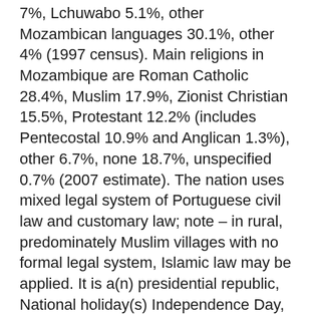7%, Lchuwabo 5.1%, other Mozambican languages 30.1%, other 4% (1997 census). Main religions in Mozambique are Roman Catholic 28.4%, Muslim 17.9%, Zionist Christian 15.5%, Protestant 12.2% (includes Pentecostal 10.9% and Anglican 1.3%), other 6.7%, none 18.7%, unspecified 0.7% (2007 estimate). The nation uses mixed legal system of Portuguese civil law and customary law; note – in rural, predominately Muslim villages with no formal legal system, Islamic law may be applied. It is a(n) presidential republic, National holiday(s) Independence Day, 25 June (1975).
Economic overview for the country: At independence in 1975, Mozambique was one